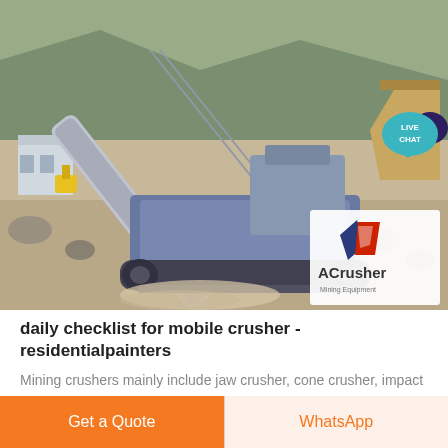[Figure (photo): Aerial view of a mobile crusher / mining equipment at a quarry site with conveyor belt, rocky terrain, and an ACrusher Mining Equipment logo overlay in the lower right corner.]
daily checklist for mobile crusher - residentialpainters
Mining crushers mainly include jaw crusher, cone crusher, impact crusher, mobile crusher for crushing stone, rock, quarry materials in mining industry. Contact Supplier